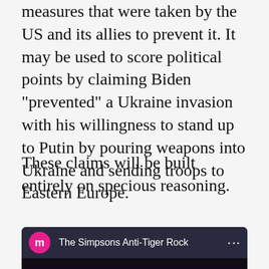measures that were taken by the US and its allies to prevent it. It may be used to score political points by claiming Biden "prevented" a Ukraine invasion with his willingness to stand up to Putin by pouring weapons into Ukraine and sending troops to Eastern Europe.
These claims will be built entirely on specious reasoning.
[Figure (screenshot): YouTube video embed showing 'The Simpsons Anti-Tiger Rock' with a pink avatar icon labeled 'm', three-dot menu, and a video thumbnail showing cartoon characters (Homer and Lisa Simpson) in a dark scene with a YouTube play button overlay.]